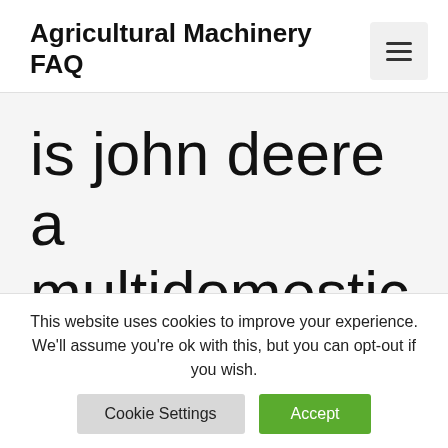Agricultural Machinery FAQ
is john deere a multidomestic company
This website uses cookies to improve your experience. We'll assume you're ok with this, but you can opt-out if you wish.